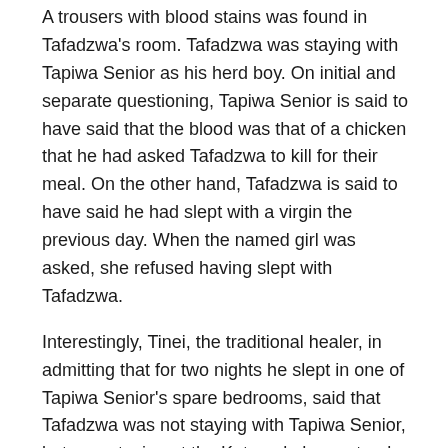A trousers with blood stains was found in Tafadzwa's room. Tafadzwa was staying with Tapiwa Senior as his herd boy. On initial and separate questioning, Tapiwa Senior is said to have said that the blood was that of a chicken that he had asked Tafadzwa to kill for their meal. On the other hand, Tafadzwa is said to have said he had slept with a virgin the previous day. When the named girl was asked, she refused having slept with Tafadzwa.
Interestingly, Tinei, the traditional healer, in admitting that for two nights he slept in one of Tapiwa Senior's spare bedrooms, said that Tafadzwa was not staying with Tapiwa Senior, but was staying at the Katsande homestead, a stone's throw from Tapiwa's homestead. He said Tapiwa Senior prepared the Tuesday meal for him.
In accordance with local traditions, Chief Mangwende has ordered that no corpse will be buried in his area without a head.
Thus, the Makores' appeal to the co-accused is to come clean on the whereabouts of their son's head so that he